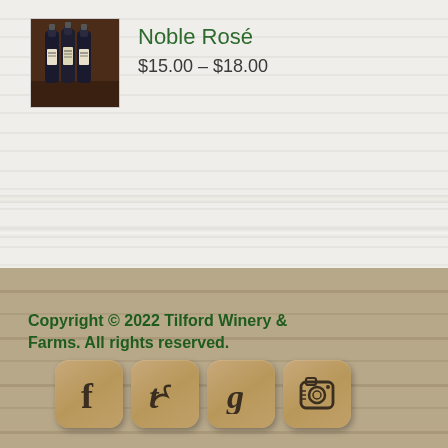[Figure (photo): Product photo of wine bottles for Noble Rosé]
Noble Rosé
$15.00 – $18.00
Copyright © 2022 Tilford Winery & Farms. All rights reserved.
[Figure (illustration): Social media icons for Facebook, Twitter, Google+, and Instagram on wooden square buttons]